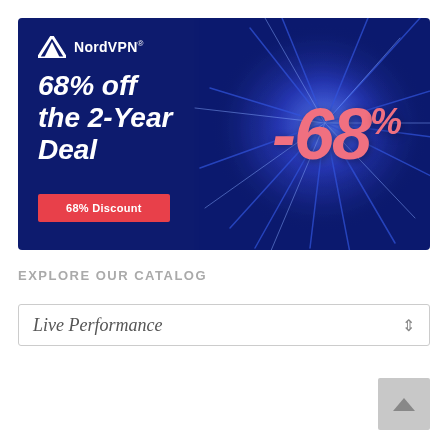[Figure (infographic): NordVPN advertisement banner with dark navy blue background and blue explosion graphic on the right side. Shows NordVPN logo top left, headline '68% off the 2-Year Deal' in bold white italic text, a '68% Discount' red button, and a large pink/salmon colored '-68%' text overlaid on the blue explosion.]
EXPLORE OUR CATALOG
Live Performance